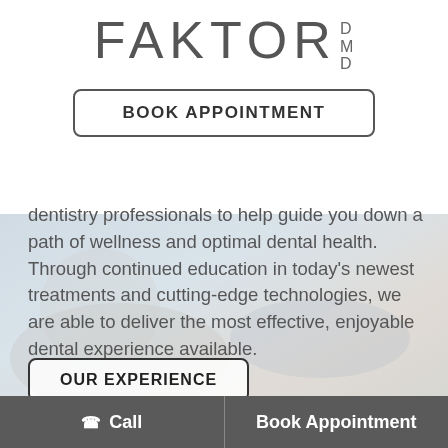[Figure (logo): Faktor DMD dental practice logo in large sans-serif letters with DMD superscript]
BOOK APPOINTMENT
[Figure (photo): Background photo of a dental patient reclining in a dental chair, blended with light overlay]
dentistry professionals to help guide you down a path of wellness and optimal dental health. Through continued education in today's newest treatments and cutting-edge technologies, we are able to deliver the most effective, enjoyable dental experience available.
OUR EXPERIENCE
Call   Book Appointment